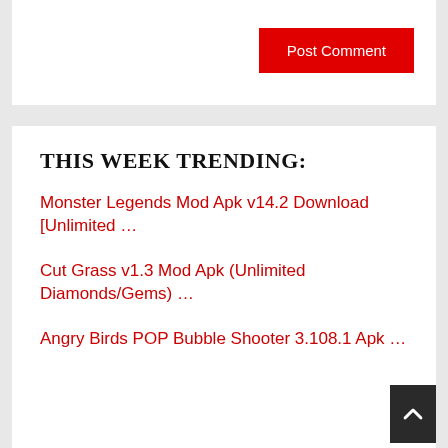Post Comment
THIS WEEK TRENDING:
Monster Legends Mod Apk v14.2 Download [Unlimited …
Cut Grass v1.3 Mod Apk (Unlimited Diamonds/Gems) …
Angry Birds POP Bubble Shooter 3.108.1 Apk …